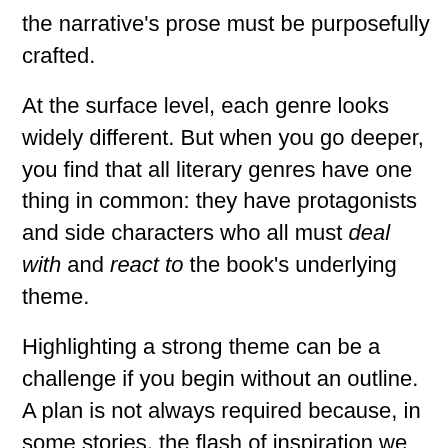the narrative's prose must be purposefully crafted.
At the surface level, each genre looks widely different. But when you go deeper, you find that all literary genres have one thing in common: they have protagonists and side characters who all must deal with and react to the book's underlying theme.
Highlighting a strong theme can be a challenge if you begin without an outline. A plan is not always required because, in some stories, the flash of inspiration we start with is a strong theme. The theme develops as you write, and immediately, you see what it is.
Personally, I need an outline most of the time.
Whatever the case, once you have identified the central theme, you can write the story in such a way that it is